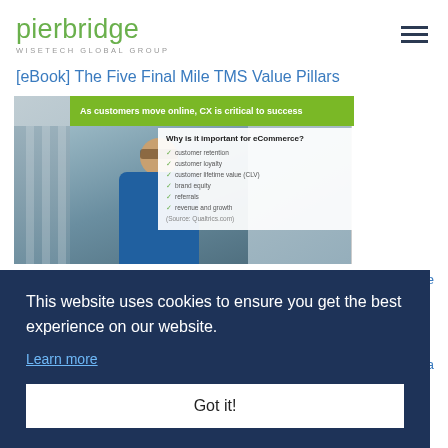pierbridge WISETECH GLOBAL GROUP
[eBook] The Five Final Mile TMS Value Pillars
[Figure (screenshot): Screenshot of a webpage with green banner reading 'As customers move online, CX is critical to success', showing a professional man in a blue jacket, and a panel titled 'Why is it important for eCommerce?' with checklist items: customer retention, customer loyalty, customer lifetime value (CLV), brand equity, referrals, revenue and growth (Source: Qualtrics.com)]
This website uses cookies to ensure you get the best experience on our website.
Learn more
Got it!